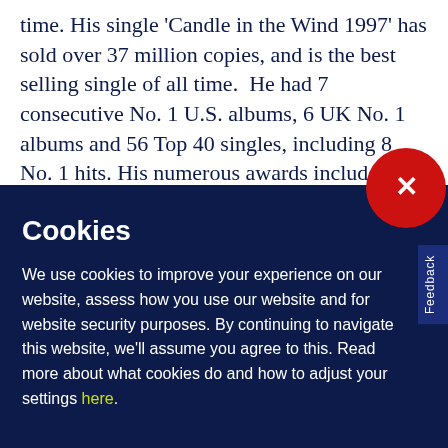time. His single 'Candle in the Wind 1997' has sold over 37 million copies, and is the best selling single of all time.  He had 7 consecutive No. 1 U.S. albums, 6 UK No. 1 albums and 56 Top 40 singles, including 8 No. 1 hits. His numerous awards include
Cookies
We use cookies to improve your experience on our website, assess how you use our website and for website security purposes. By continuing to navigate this website, we'll assume you agree to this. Read more about what cookies do and how to adjust your settings here.